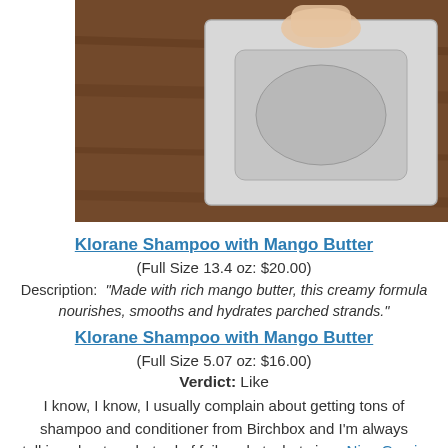[Figure (photo): Hand holding a white foil/packet shampoo sample on a wooden surface]
Klorane Shampoo with Mango Butter
(Full Size 13.4 oz: $20.00)
Description: “Made with rich mango butter, this creamy formula nourishes, smooths and hydrates parched strands.”
Klorane Shampoo with Mango Butter
(Full Size 5.07 oz: $16.00)
Verdict: Like
I know, I know, I usually complain about getting tons of shampoo and conditioner from Birchbox and I’m always talking about my hatred of foil packets, but since Nina Garcia blew my entire haircare budget on